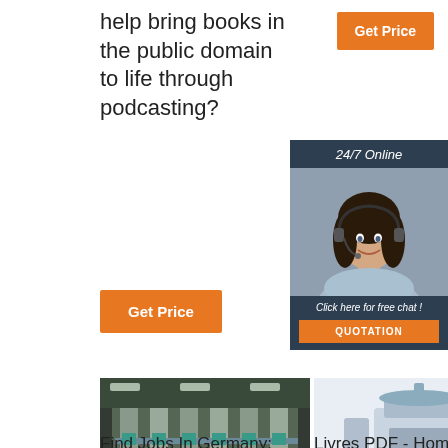help bring books in the public domain to life through podcasting?
[Figure (other): Orange 'Get Price' button (top right)]
[Figure (other): Chat widget with '24/7 Online' header, agent photo with headset, 'Click here for free chat!' text, and orange QUOTATION button]
[Figure (other): Orange 'Get Price' button (middle left)]
[Figure (photo): Industrial grain milling machinery in a large warehouse]
[Figure (photo): Industrial grain processing/milling equipment on white background]
Find Jobs In Germany:
Livres PDF - Home
Find Jobs In Germany: